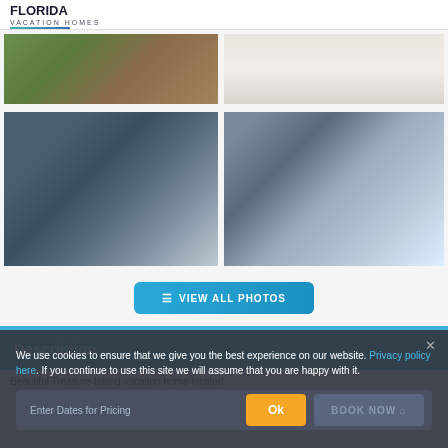FLORIDA VACATION HOMES
[Figure (photo): Aerial view of vacation home complex with pool and surrounding trees]
[Figure (photo): Interior photo showing white dining area]
[Figure (photo): Living room with blue/gray sofa and ceiling fan, sliding glass doors]
[Figure (photo): Open plan living and kitchen area with blue sofa and chandelier]
≡ VIEW ALL PHOTOS
Description
We use cookies to ensure that we give you the best experience on our website. Privacy policy here. If you continue to use this site we will assume that you are happy with it.
Ok
Enter Dates for Pricing
BOOK NOW